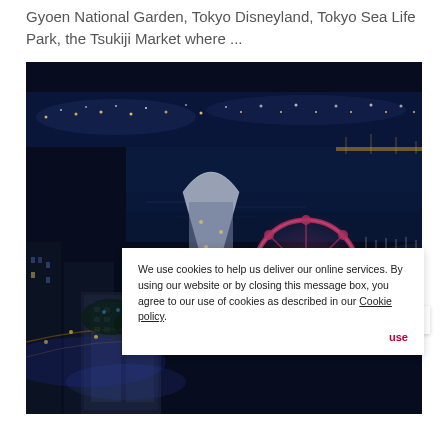Gyoen National Garden, Tokyo Disneyland, Tokyo Sea Life Park, the Tsukiji Market where ...
[Figure (photo): Aerial night view of a Japanese city (Yokohama/Tokyo waterfront) with illuminated ferris wheel, skyscrapers, harbor, and city lights spread across the landscape]
We use cookies to help us deliver our online services. By using our website or by closing this message box, you agree to our use of cookies as described in our Cookie policy.
use